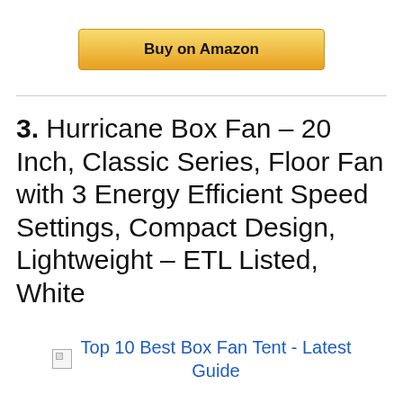[Figure (other): Buy on Amazon button with golden/amber gradient background]
3. Hurricane Box Fan – 20 Inch, Classic Series, Floor Fan with 3 Energy Efficient Speed Settings, Compact Design, Lightweight – ETL Listed, White
Top 10 Best Box Fan Tent - Latest Guide